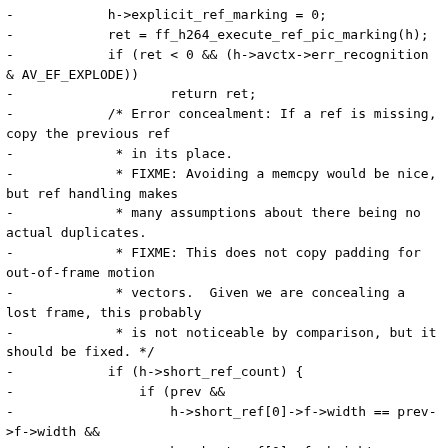-            h->explicit_ref_marking = 0;
-            ret = ff_h264_execute_ref_pic_marking(h);
-            if (ret < 0 && (h->avctx->err_recognition & AV_EF_EXPLODE))
-                    return ret;
-            /* Error concealment: If a ref is missing, copy the previous ref
-             * in its place.
-             * FIXME: Avoiding a memcpy would be nice, but ref handling makes
-             * many assumptions about there being no actual duplicates.
-             * FIXME: This does not copy padding for out-of-frame motion
-             * vectors.  Given we are concealing a lost frame, this probably
-             * is not noticeable by comparison, but it should be fixed. */
-            if (h->short_ref_count) {
-                if (prev &&
-                    h->short_ref[0]->f->width == prev->f->width &&
-                    h->short_ref[0]->f->height == prev->f->height &&
-                    h->short_ref[0]->f->format == prev->f->format) {
-                    av_image_copy(h->short_ref[0]->f->data,
-                                  h->short_ref[0]->f->linesize,